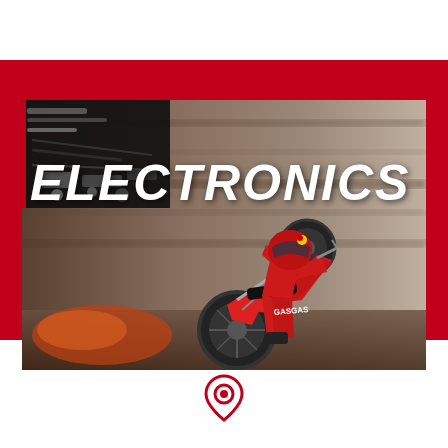[Figure (photo): A motocross rider on a red GASGAS dirt bike performing a wheelie at high speed, with motion-blurred background. Top-left corner has a dark overlay with electronics/wiring imagery. Large italic bold white text reads ELECTRONICS overlaid on the image. The composition sits on a red background band.]
ELECTRONICS
[Figure (other): Red location pin / map marker icon centered at the bottom of the page]